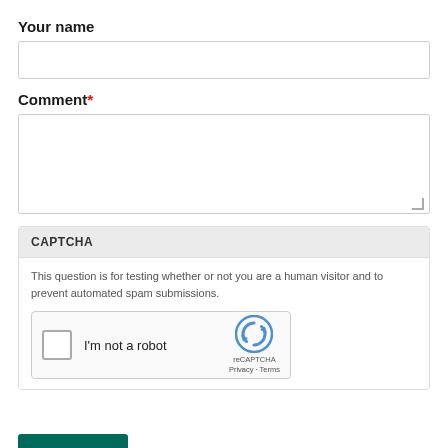Your name
[Figure (screenshot): Empty text input field for 'Your name']
Comment*
[Figure (screenshot): Empty textarea input field for 'Comment']
CAPTCHA
This question is for testing whether or not you are a human visitor and to prevent automated spam submissions.
[Figure (screenshot): reCAPTCHA widget with checkbox labeled 'I'm not a robot' and reCAPTCHA logo with Privacy and Terms links]